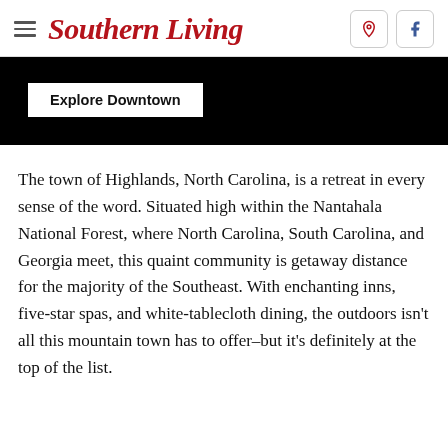Southern Living
[Figure (screenshot): Black banner with an 'Explore Downtown' white button overlay]
The town of Highlands, North Carolina, is a retreat in every sense of the word. Situated high within the Nantahala National Forest, where North Carolina, South Carolina, and Georgia meet, this quaint community is getaway distance for the majority of the Southeast. With enchanting inns, five-star spas, and white-tablecloth dining, the outdoors isn't all this mountain town has to offer–but it's definitely at the top of the list.